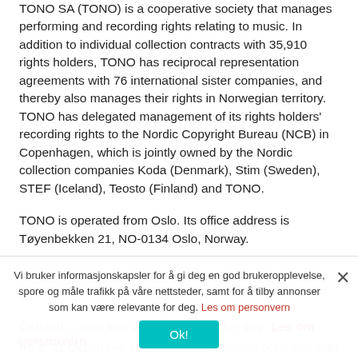TONO SA (TONO) is a cooperative society that manages performing and recording rights relating to music. In addition to individual collection contracts with 35,910 rights holders, TONO has reciprocal representation agreements with 76 international sister companies, and thereby also manages their rights in Norwegian territory. TONO has delegated management of its rights holders' recording rights to the Nordic Copyright Bureau (NCB) in Copenhagen, which is jointly owned by the Nordic collection companies Koda (Denmark), Stim (Sweden), STEF (Iceland), Teosto (Finland) and TONO.
TONO is operated from Oslo. Its office address is Tøyenbekken 21, NO-0134 Oslo, Norway.
In 2020, the board of directors held nine meetings, while b...
Collecti...
As at 31 December 2020, T... had collection contracts with 35,910 rights holders. In 2020, 1,678 new rights...
Vi bruker informasjonskapsler for å gi deg en god brukeropplevelse, spore og måle trafikk på våre nettsteder, samt for å tilby annonser som kan være relevante for deg. Les om personvern